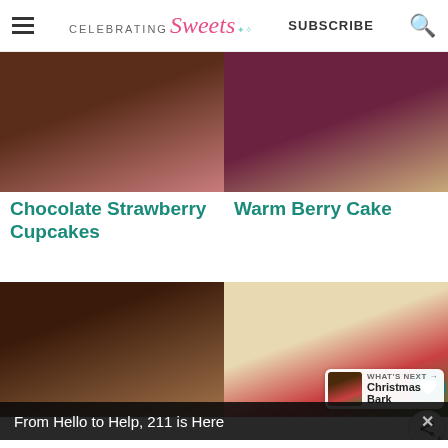CELEBRATING Sweets | SUBSCRIBE
[Figure (photo): Chocolate strawberry cupcake with pink frosting and a strawberry]
[Figure (photo): Warm berry cake with ice cream on top]
Chocolate Strawberry Cupcakes
Warm Berry Cake
[Figure (photo): Skillet cookie with ice cream and caramel drizzle]
[Figure (photo): Christmas M&M cookies with red and green candies]
WHAT'S NEXT → Christmas Bark
From Hello to Help, 211 is Here